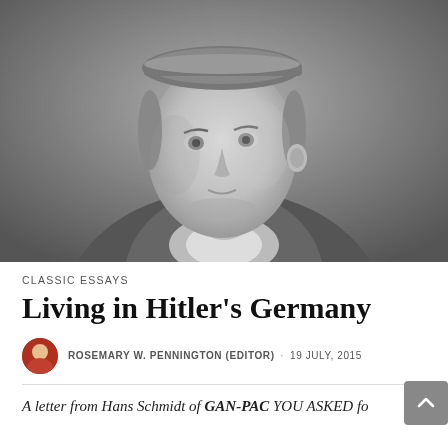[Figure (photo): Black and white portrait photograph of a young boy wearing a cap and jacket, looking slightly to the side]
CLASSIC ESSAYS
Living in Hitler's Germany
ROSEMARY W. PENNINGTON (EDITOR) · 19 JULY, 2015
A letter from Hans Schmidt of GAN-PAC YOU ASKED for